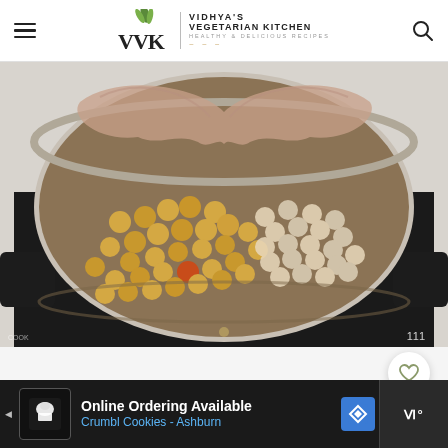Vidhya's Vegetarian Kitchen — Healthy & Delicious Recipes
[Figure (photo): Top-down view of an Instant Pot or pressure cooker containing chickpeas (canned or soaked) along with other ingredients and liquid, viewed from above showing the inner steel pot and black outer housing]
Online Ordering Available
Crumbl Cookies - Ashburn